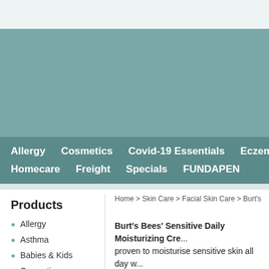[Figure (other): Teal/muted green banner image area at the top of the page]
Allergy   Cosmetics   Covid-19 Essentials   Eczema   New   Homecare   Freight   Specials   FUNDAPEN
Home > Skin Care > Facial Skin Care > Burt's Bees
Products
Allergy
Asthma
Babies & Kids
Cosmetics
Burt's Bees' Sensitive Daily Moisturizing Cre... proven to moisturise sensitive skin all day w...